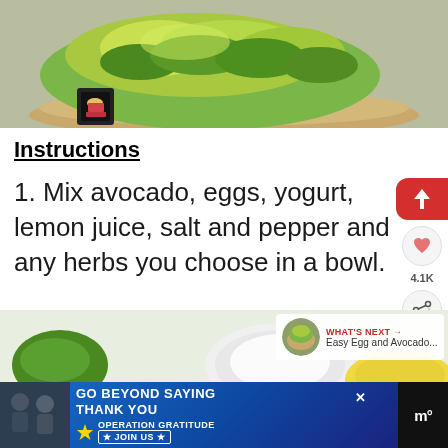[Figure (photo): Close-up photo of an avocado egg salad open-faced sandwich on a bun with microgreens, on a gray background. Small cupcake icon visible in lower left of photo.]
Instructions
1. Mix avocado, eggs, yogurt, lemon juice, salt and pepper and any herbs you choose in a bowl.
[Figure (photo): Bottom photo showing ingredients including lemon, yogurt in a bowl, and green herbs on a white surface.]
WHAT'S NEXT → Easy Egg and Avocado...
[Figure (photo): Advertisement banner: GO BEYOND SAYING THANK YOU – Operation Gratitude JOIN US]
GO BEYOND SAYING THANK YOU OPERATION GRATITUDE ★ JOIN US ★